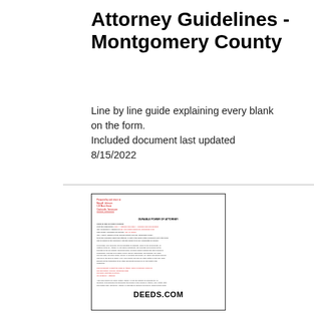Attorney Guidelines - Montgomery County
Line by line guide explaining every blank on the form.
Included document last updated 8/15/2022
[Figure (other): Preview thumbnail of a legal Power of Attorney document with DEEDS.COM watermark/logo at the bottom, showing red and black text with address lines and body paragraphs.]